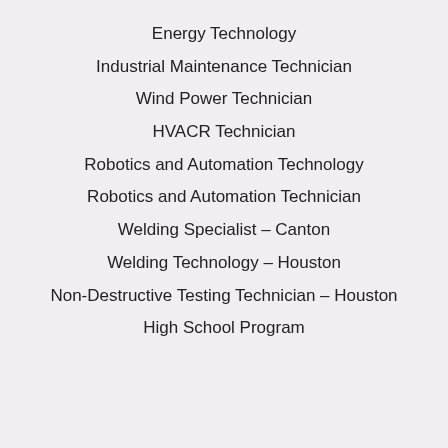Energy Technology
Industrial Maintenance Technician
Wind Power Technician
HVACR Technician
Robotics and Automation Technology
Robotics and Automation Technician
Welding Specialist – Canton
Welding Technology – Houston
Non-Destructive Testing Technician – Houston
High School Program